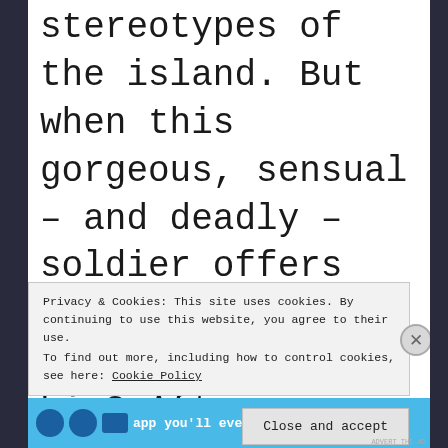stereotypes of the island. But when this gorgeous, sensual – and deadly – soldier offers her his help, how could she resist him? After
Privacy & Cookies: This site uses cookies. By continuing to use this website, you agree to their use.
To find out more, including how to control cookies, see here: Cookie Policy
Close and accept
app you'll ever need.